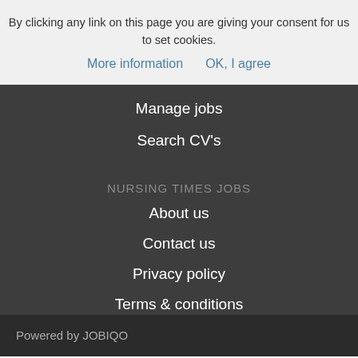By clicking any link on this page you are giving your consent for us to set cookies.
More information    OK, I agree
Manage jobs
Search CV's
NURSING TIMES JOBS
About us
Contact us
Privacy policy
Terms & conditions
Powered by JOBIQO